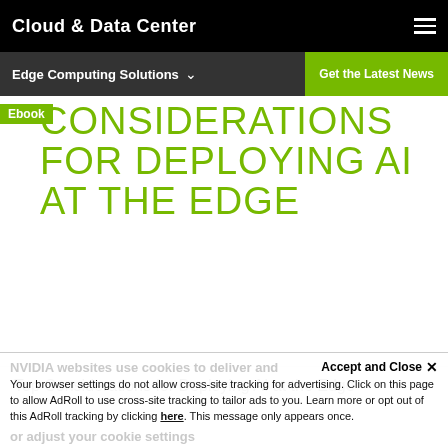Cloud & Data Center
Edge Computing Solutions
Get the Latest News
CONSIDERATIONS FOR DEPLOYING AI AT THE EDGE
Ebook
Top Considerations for Deploying AI at the Edge
Your browser settings do not allow cross-site tracking for advertising. Click on this page to allow AdRoll to use cross-site tracking to tailor ads to you. Learn more or opt out of this AdRoll tracking by clicking here. This message only appears once.